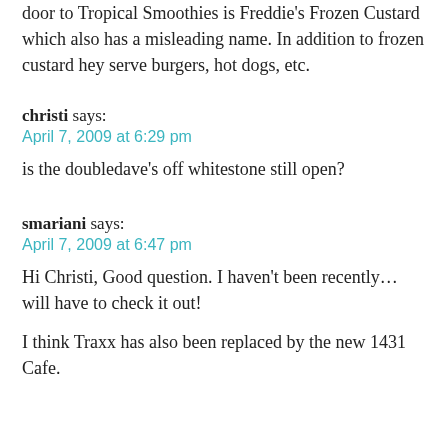door to Tropical Smoothies is Freddie's Frozen Custard which also has a misleading name. In addition to frozen custard hey serve burgers, hot dogs, etc.
christi says:
April 7, 2009 at 6:29 pm
is the doubledave’s off whitestone still open?
smariani says:
April 7, 2009 at 6:47 pm
Hi Christi, Good question. I haven’t been recently… will have to check it out!
I think Traxx has also been replaced by the new 1431 Cafe.